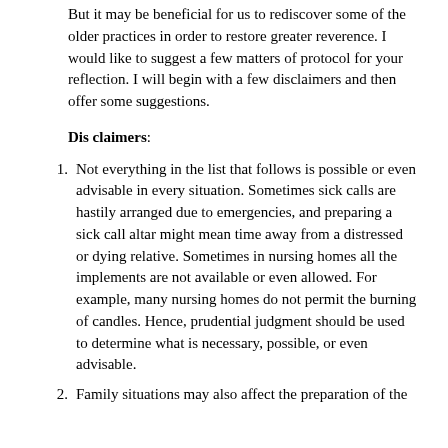But it may be beneficial for us to rediscover some of the older practices in order to restore greater reverence. I would like to suggest a few matters of protocol for your reflection. I will begin with a few disclaimers and then offer some suggestions.
Disclaimers:
Not everything in the list that follows is possible or even advisable in every situation. Sometimes sick calls are hastily arranged due to emergencies, and preparing a sick call altar might mean time away from a distressed or dying relative. Sometimes in nursing homes all the implements are not available or even allowed. For example, many nursing homes do not permit the burning of candles. Hence, prudential judgment should be used to determine what is necessary, possible, or even advisable.
Family situations may also affect the preparation of the